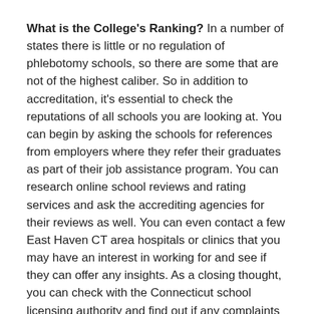What is the College's Ranking? In a number of states there is little or no regulation of phlebotomy schools, so there are some that are not of the highest caliber. So in addition to accreditation, it's essential to check the reputations of all schools you are looking at. You can begin by asking the schools for references from employers where they refer their graduates as part of their job assistance program. You can research online school reviews and rating services and ask the accrediting agencies for their reviews as well. You can even contact a few East Haven CT area hospitals or clinics that you may have an interest in working for and see if they can offer any insights. As a closing thought, you can check with the Connecticut school licensing authority and find out if any complaints have been filed or if the colleges are in full compliance.
Is Enough Training Provided? To begin with, contact